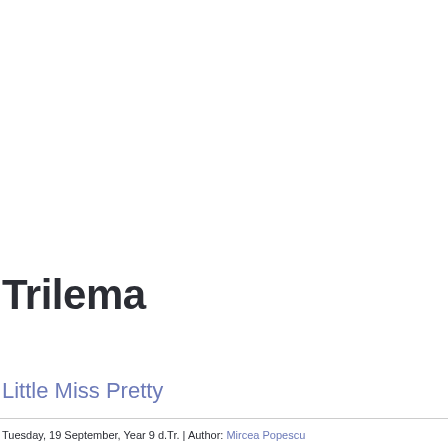Trilema
Little Miss Pretty
Tuesday, 19 September, Year 9 d.Tr. | Author: Mircea Popescu